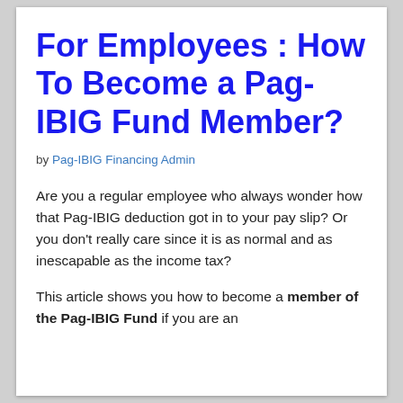For Employees : How To Become a Pag-IBIG Fund Member?
by Pag-IBIG Financing Admin
Are you a regular employee who always wonder how that Pag-IBIG deduction got in to your pay slip? Or you don't really care since it is as normal and as inescapable as the income tax?
This article shows you how to become a member of the Pag-IBIG Fund if you are an employee...